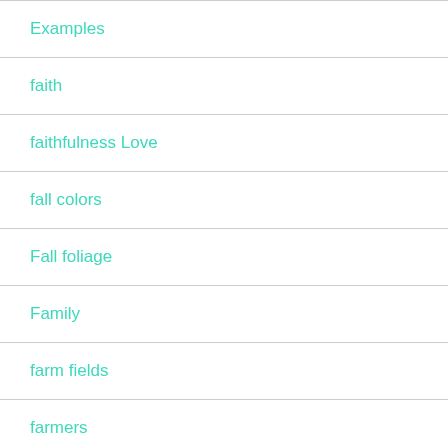Examples
faith
faithfulness Love
fall colors
Fall foliage
Family
farm fields
farmers